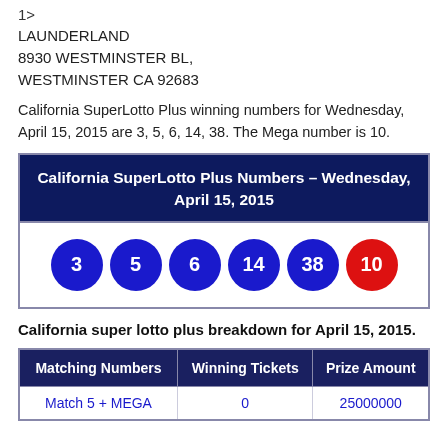1>
LAUNDERLAND
8930 WESTMINSTER BL,
WESTMINSTER CA 92683
California SuperLotto Plus winning numbers for Wednesday, April 15, 2015 are 3, 5, 6, 14, 38. The Mega number is 10.
[Figure (infographic): California SuperLotto Plus Numbers box for Wednesday, April 15, 2015 showing lottery balls: 3, 5, 6, 14, 38 (blue) and 10 (red/Mega)]
California super lotto plus breakdown for April 15, 2015.
| Matching Numbers | Winning Tickets | Prize Amount |
| --- | --- | --- |
| Match 5 + MEGA | 0 | 25000000 |